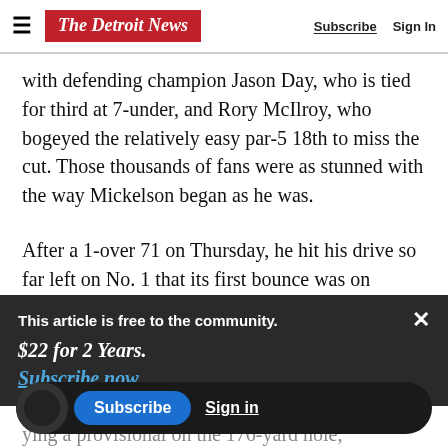The Detroit News | Subscribe | Sign In
with defending champion Jason Day, who is tied for third at 7-under, and Rory McIlroy, who bogeyed the relatively easy par-5 18th to miss the cut. Those thousands of fans were as stunned with the way Mickelson began as he was.
After a 1-over 71 on Thursday, he hit his drive so far left on No. 1 that its first bounce was on Shunpike Road. It appeared to hang a left on
This article is free to the community.
$22 for 2 Years.
Subscribe now
ying a provisional on the 176-yard hole, Mickelson... the ball di...
next shot almost landed in the backyard of a